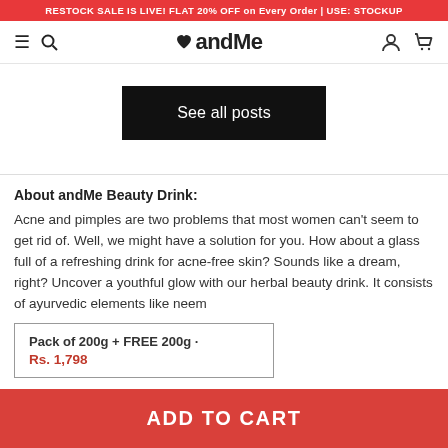RESTOCK SALE IS LIVE! FLAT 20% OFF on Every Order | USE: STOCKUP
[Figure (screenshot): andMe website navigation bar with hamburger menu, search icon, andMe logo with heart, user icon, and cart icon]
See all posts
About andMe Beauty Drink:
Acne and pimples are two problems that most women can't seem to get rid of. Well, we might have a solution for you. How about a glass full of a refreshing drink for acne-free skin? Sounds like a dream, right? Uncover a youthful glow with our herbal beauty drink. It consists of ayurvedic elements like neem
Pack of 200g + FREE 200g · Rs. 1,798
ADD TO CART